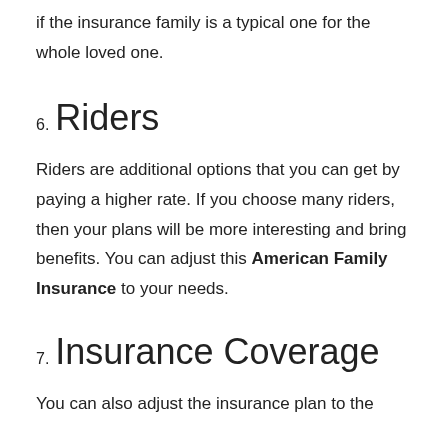if the insurance family is a typical one for the whole loved one.
6. Riders
Riders are additional options that you can get by paying a higher rate. If you choose many riders, then your plans will be more interesting and bring benefits. You can adjust this American Family Insurance to your needs.
7. Insurance Coverage
You can also adjust the insurance plan to the